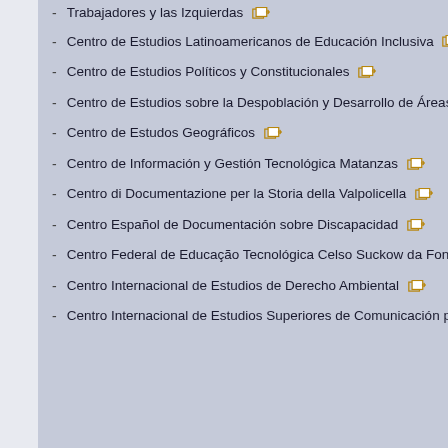Centro de Estudios Latinoamericanos de Educación Inclusiva
Centro de Estudios Políticos y Constitucionales
Centro de Estudios sobre la Despoblación y Desarrollo de Áreas Rurales
Centro de Estudos Geográficos
Centro de Información y Gestión Tecnológica Matanzas
Centro di Documentazione per la Storia della Valpolicella
Centro Español de Documentación sobre Discapacidad
Centro Federal de Educação Tecnológica Celso Suckow da Fonseca
Centro Internacional de Estudios de Derecho Ambiental
Centro Internacional de Estudios Superiores de Comunicación para América Latina